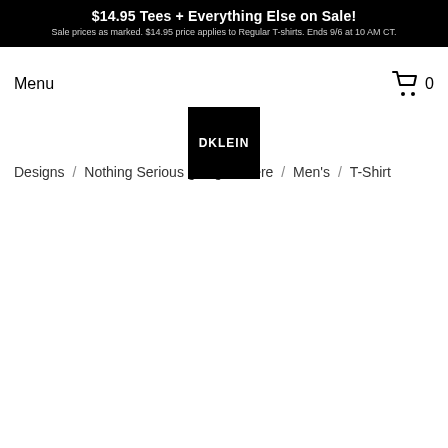$14.95 Tees + Everything Else on Sale! Sale prices as marked. $14.95 price applies to Regular T-shirts. Ends 9/6 at 10 AM CT.
Menu
[Figure (logo): DKLEIN logo - white text on black square background]
0
Designs / Nothing Serious going on here / Men's / T-Shirt